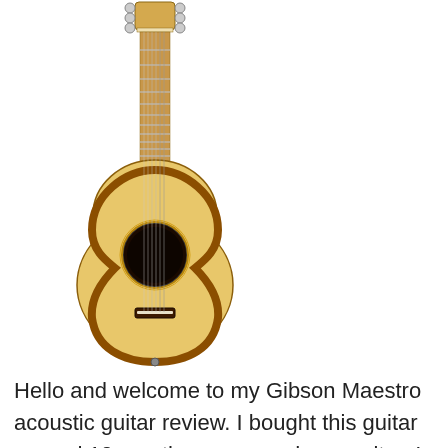[Figure (illustration): An acoustic guitar (dreadnought style) with a natural blonde spruce top, dark sound hole, dark fretboard, and tuning pegs at the headstock. The guitar is shown vertically on a white background.]
Hello and welcome to my Gibson Maestro acoustic guitar review. I bought this guitar around 10 months ago as a do up guitar. I haven?t done much to do it up so far but have still played it a lot. In this review I?ll take a look